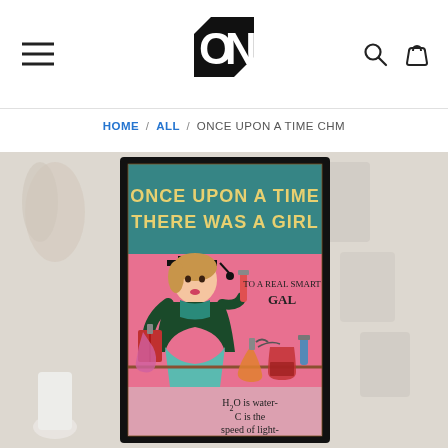ON logo, hamburger menu, search and cart icons
HOME / ALL / ONCE UPON A TIME CHM
[Figure (photo): Product photo showing a vintage-style poster in a black frame. The poster reads 'ONCE UPON A TIME THERE WAS A GIRL' in bold text on a teal banner, with a retro illustration of a girl in graduation cap and gown holding a book and test tube, surrounded by chemistry lab equipment on a pink background. Text reads 'TO A REAL SMART GAL' and 'H2O is water, C is the speed of light-'. The framed poster is displayed on a shelf with dried flowers and decorative items.]